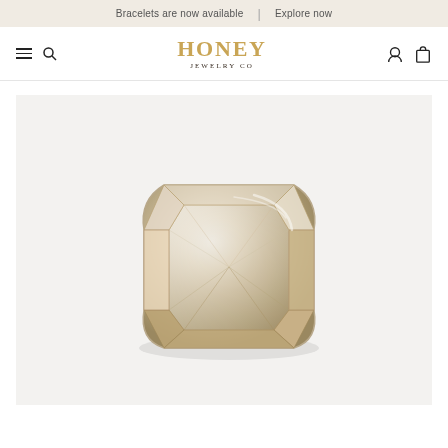Bracelets are now available | Explore now
[Figure (logo): Honey Jewelry Co logo with hamburger menu, search icon, account icon, and bag icon in navigation bar]
[Figure (photo): Cushion-cut diamond with champagne/light brown color, photographed on a light gray background, showing facets and brilliance]